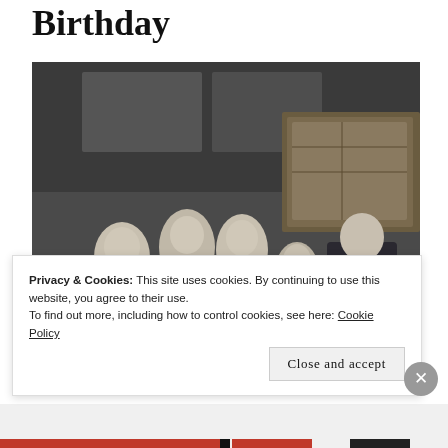Birthday
[Figure (photo): Black and white photograph showing a man in a suit speaking with a group of young boys, some shirtless, in what appears to be a gymnasium or warehouse setting.]
Privacy & Cookies: This site uses cookies. By continuing to use this website, you agree to their use.
To find out more, including how to control cookies, see here: Cookie Policy
Close and accept